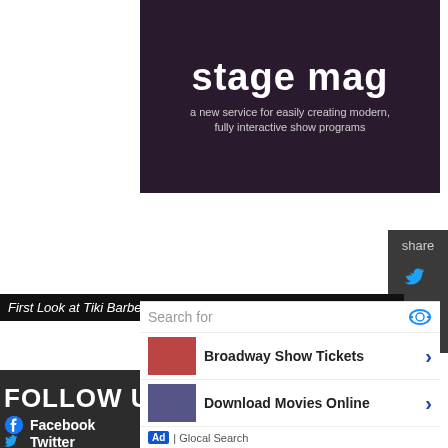[Figure (logo): Stage Mag banner with dark purple/maroon background. White bold text reads 'stage mag' with subtitle 'a new service for easily creating modern, fully interactive show programs']
[Figure (infographic): Share panel on the right side with Twitter and Facebook icons on dark grey background, with 'share' label at top]
FOLLOW US
Facebook
Twitter
Instagram
First Look at Tiki Barber in
[Figure (infographic): Ad overlay with search bar ('Search for'), two ad items: 'Broadway Show Tickets' and 'Download Movies Online', each with thumbnail and blue arrow. Footer shows 'Ad | Glocal Search']